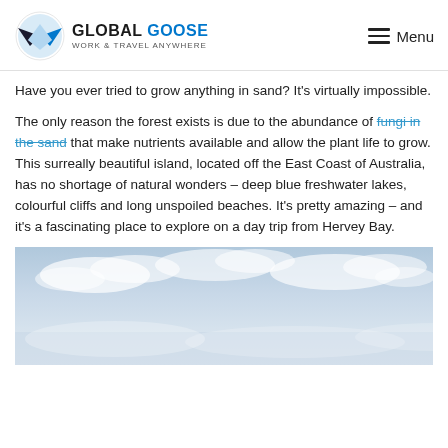GLOBAL GOOSE - Work & Travel Anywhere | Menu
Have you ever tried to grow anything in sand? It's virtually impossible.
The only reason the forest exists is due to the abundance of fungi in the sand that make nutrients available and allow the plant life to grow. This surreally beautiful island, located off the East Coast of Australia, has no shortage of natural wonders – deep blue freshwater lakes, colourful cliffs and long unspoiled beaches. It's pretty amazing – and it's a fascinating place to explore on a day trip from Hervey Bay.
[Figure (photo): Photograph of a sky with light blue tones and white clouds, likely taken near the ocean or beach.]